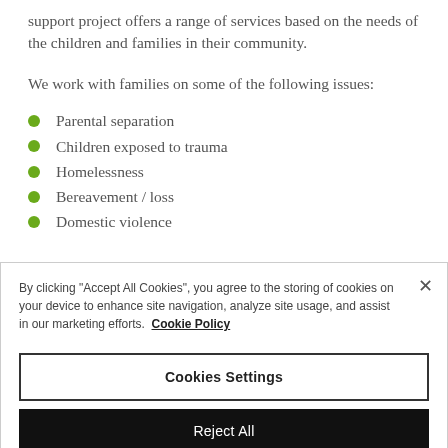support project offers a range of services based on the needs of the children and families in their community.
We work with families on some of the following issues:
Parental separation
Children exposed to trauma
Homelessness
Bereavement / loss
Domestic violence
By clicking "Accept All Cookies", you agree to the storing of cookies on your device to enhance site navigation, analyze site usage, and assist in our marketing efforts. Cookie Policy
Cookies Settings
Reject All